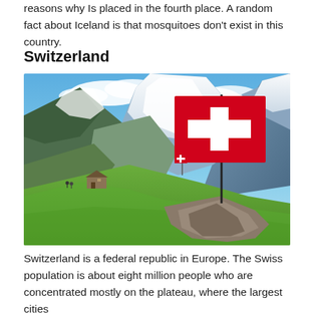reasons why Is placed in the fourth place. A random fact about Iceland is that mosquitoes don't exist in this country.
Switzerland
[Figure (photo): Alpine mountain landscape with snow-capped peaks, green hillside, a small building/chalet, rocky cliffs, and a large Swiss flag (red with white cross) on a flagpole in the foreground right.]
Switzerland is a federal republic in Europe. The Swiss population is about eight million people who are concentrated mostly on the plateau, where the largest cities